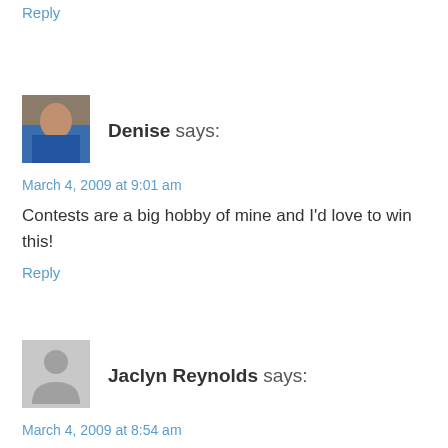Reply
[Figure (photo): Avatar photo of Denise, a woman in a blue top]
Denise says:
March 4, 2009 at 9:01 am
Contests are a big hobby of mine and I'd love to win this!
Reply
[Figure (illustration): Generic grey avatar placeholder silhouette]
Jaclyn Reynolds says:
March 4, 2009 at 8:54 am